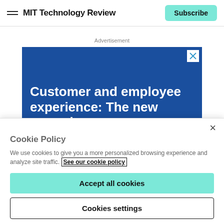MIT Technology Review
Advertisement
[Figure (screenshot): Blue advertisement banner reading 'Customer and employee experience: The new normal']
Cookie Policy
We use cookies to give you a more personalized browsing experience and analyze site traffic. See our cookie policy
Accept all cookies
Cookies settings